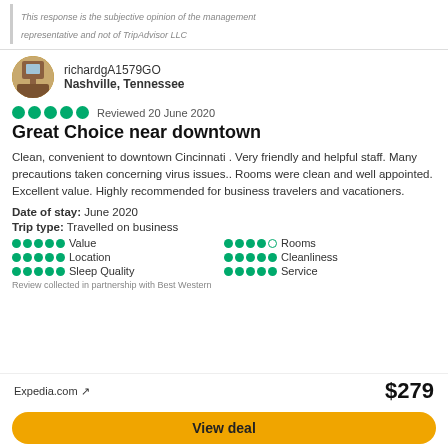This response is the subjective opinion of the management representative and not of TripAdvisor LLC
richardgA1579GO
Nashville, Tennessee
Reviewed 20 June 2020
Great Choice near downtown
Clean, convenient to downtown Cincinnati . Very friendly and helpful staff. Many precautions taken concerning virus issues.. Rooms were clean and well appointed. Excellent value. Highly recommended for business travelers and vacationers.
Date of stay: June 2020
Trip type: Travelled on business
Value
Location
Sleep Quality
Rooms
Cleanliness
Service
Review collected in partnership with Best Western
Expedia.com ↗
$279
View deal